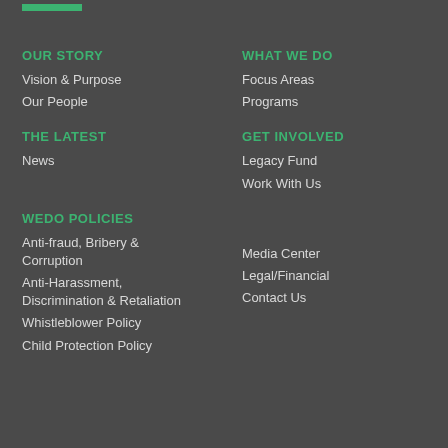OUR STORY
Vision & Purpose
Our People
WHAT WE DO
Focus Areas
Programs
THE LATEST
News
GET INVOLVED
Legacy Fund
Work With Us
WEDO POLICIES
Anti-fraud, Bribery & Corruption
Anti-Harassment, Discrimination & Retaliation
Whistleblower Policy
Child Protection Policy
Media Center
Legal/Financial
Contact Us